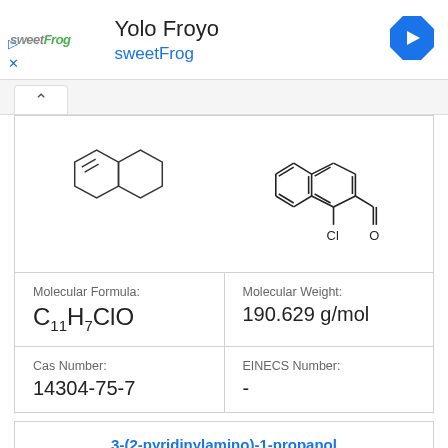[Figure (screenshot): Ad banner for Yolo Froyo sweetFrog with logo, title, navigation chevron diamond icon, and play/close icons on left]
[Figure (engineering-diagram): Chemical structure diagram of 1-chloro-2-naphthaldehyde showing bicyclic naphthalene ring with Cl and CHO substituents]
| Molecular Formula: | Molecular Weight: |
| --- | --- |
| C11H7ClO | 190.629 g/mol |
| Cas Number: | EINECS Number: |
| --- | --- |
| 14304-75-7 | - |
3-(2-pyridinylamino)-1-propanol